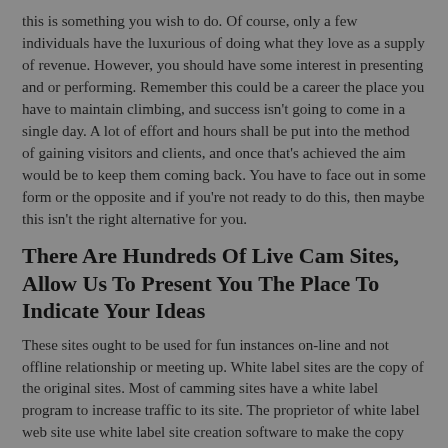this is something you wish to do. Of course, only a few individuals have the luxurious of doing what they love as a supply of revenue. However, you should have some interest in presenting and or performing. Remember this could be a career the place you have to maintain climbing, and success isn't going to come in a single day. A lot of effort and hours shall be put into the method of gaining visitors and clients, and once that's achieved the aim would be to keep them coming back. You have to face out in some form or the opposite and if you're not ready to do this, then maybe this isn't the right alternative for you.
There Are Hundreds Of Live Cam Sites, Allow Us To Present You The Place To Indicate Your Ideas
These sites ought to be used for fun instances on-line and not offline relationship or meeting up. White label sites are the copy of the original sites. Most of camming sites have a white label program to increase traffic to its site. The proprietor of white label web site use white label site creation software to make the copy site look authentic site. The proprietor of white label site receives money again from its unique camming site. For pay per minute sites, how a lot you can count on may be calculated by multiplying